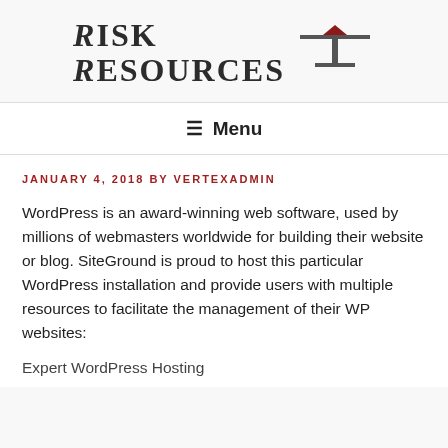[Figure (logo): Risk Resources logo with stylized R letters and a balance scale icon above the text]
≡ Menu
JANUARY 4, 2018 BY VERTEXADMIN
WordPress is an award-winning web software, used by millions of webmasters worldwide for building their website or blog. SiteGround is proud to host this particular WordPress installation and provide users with multiple resources to facilitate the management of their WP websites:
Expert WordPress Hosting